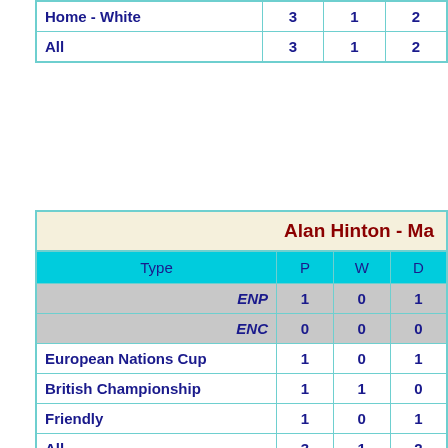| Type | P | W | D |
| --- | --- | --- | --- |
| Home - White | 3 | 1 | 2 |
| All | 3 | 1 | 2 |
Alan Hinton - Ma...
| Type | P | W | D |
| --- | --- | --- | --- |
| ENP | 1 | 0 | 1 |
| ENC | 0 | 0 | 0 |
| European Nations Cup | 1 | 0 | 1 |
| British Championship | 1 | 1 | 0 |
| Friendly | 1 | 0 | 1 |
| All | 3 | 1 | 2 |
Alan Hinton - Mate...
European Nati...
| Type | P | W | D | L |
| --- | --- | --- | --- | --- |